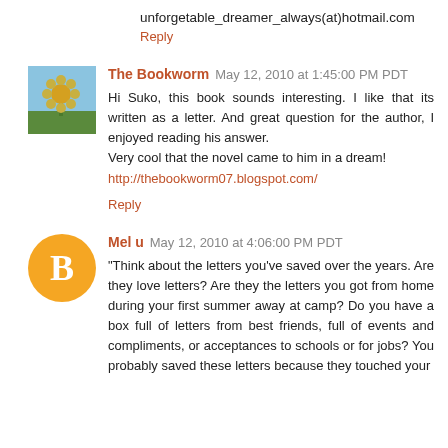unforgetable_dreamer_always(at)hotmail.com
Reply
The Bookworm  May 12, 2010 at 1:45:00 PM PDT
Hi Suko, this book sounds interesting. I like that its written as a letter. And great question for the author, I enjoyed reading his answer.
Very cool that the novel came to him in a dream!
http://thebookworm07.blogspot.com/
Reply
Mel u  May 12, 2010 at 4:06:00 PM PDT
"Think about the letters you've saved over the years. Are they love letters? Are they the letters you got from home during your first summer away at camp? Do you have a box full of letters from best friends, full of events and compliments, or acceptances to schools or for jobs? You probably saved these letters because they touched your